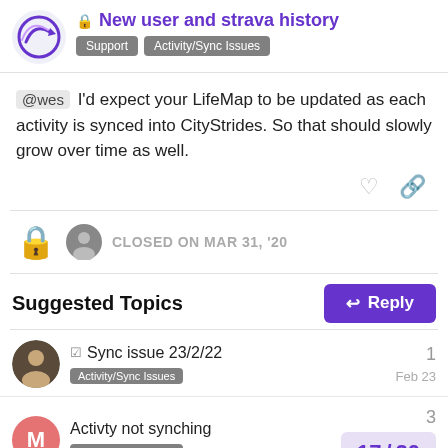New user and strava history — Support, Activity/Sync Issues
@wes I'd expect your LifeMap to be updated as each activity is synced into CityStrides. So that should slowly grow over time as well.
CLOSED ON MAR 31, '20
Suggested Topics
Sync issue 23/2/22 — Activity/Sync Issues — 1 — Feb 23
Activty not synching — Activity/Sync Issues — 3